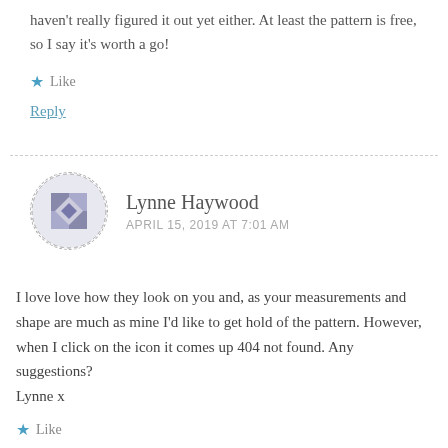haven't really figured it out yet either. At least the pattern is free, so I say it's worth a go!
★ Like
Reply
Lynne Haywood
APRIL 15, 2019 AT 7:01 AM
I love love how they look on you and, as your measurements and shape are much as mine I'd like to get hold of the pattern. However, when I click on the icon it comes up 404 not found. Any suggestions?
Lynne x
★ Like